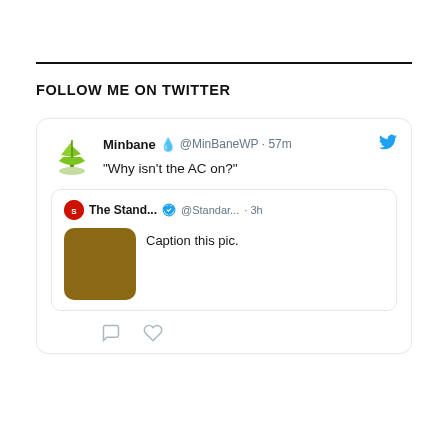FOLLOW ME ON TWITTER
[Figure (screenshot): Tweet from @MinBaneWP 57m ago: 'Why isn't the AC on?' quoting The Stand... @Standar... 3h 'Caption this pic.' with a brown image thumbnail]
[Figure (screenshot): Tweet from @MinBaneWP 11h ago: 'You forgot this part. When someone lies to you... you should at']